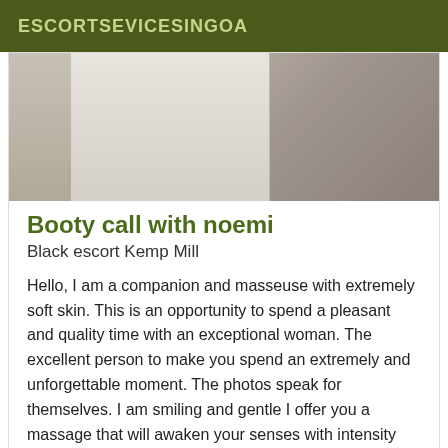ESCORTSEVICESINGOA
[Figure (photo): Top photo of a room interior, desk/table surface visible, appears to be a workspace or vanity area]
Booty call with noemi
Black escort Kemp Mill
Hello, I am a companion and masseuse with extremely soft skin. This is an opportunity to spend a pleasant and quality time with an exceptional woman. The excellent person to make you spend an extremely and unforgettable moment. The photos speak for themselves. I am smiling and gentle I offer you a massage that will awaken your senses with intensity and softness.
[Figure (photo): Dark photo at bottom with a Verified badge in the top-right corner]